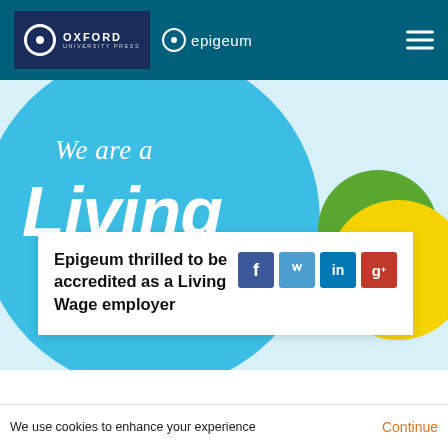Oxford University Press | Epigeum
[Figure (infographic): Living Wage employer badge graphic — large cyan circle with 'We are a Living' text in white on light blue background, with green and yellow overlapping circles on right side]
Epigeum thrilled to be accredited as a Living Wage employer
[Figure (infographic): Social share icons: Facebook (f), Twitter (bird/t), LinkedIn (in), Google+ (g+)]
We use cookies to enhance your experience
Continue